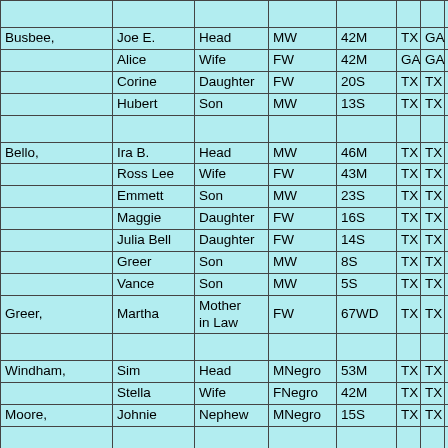| Last Name | First Name | Relation | Race/Sex | Age/Marital | Birth State | Father Birth | Mother Birth |
| --- | --- | --- | --- | --- | --- | --- | --- |
|  |  |  |  |  |  |  |  |
| Busbee, | Joe E. | Head | MW | 42M | TX | GA | TX |
|  | Alice | Wife | FW | 42M | GA | GA | GA |
|  | Corine | Daughter | FW | 20S | TX | TX | GA |
|  | Hubert | Son | MW | 13S | TX | TX | GA |
|  |  |  |  |  |  |  |  |
| Bello, | Ira B. | Head | MW | 46M | TX | TX | TX |
|  | Ross Lee | Wife | FW | 43M | TX | TX | TX |
|  | Emmett | Son | MW | 23S | TX | TX | TX |
|  | Maggie | Daughter | FW | 16S | TX | TX | TX |
|  | Julia Bell | Daughter | FW | 14S | TX | TX | TX |
|  | Greer | Son | MW | 8S | TX | TX | TX |
|  | Vance | Son | MW | 5S | TX | TX | TX |
| Greer, | Martha | Mother in Law | FW | 67WD | TX | TX | TX |
|  |  |  |  |  |  |  |  |
| Windham, | Sim | Head | MNegro | 53M | TX | TX | TX |
|  | Stella | Wife | FNegro | 42M | TX | TX | TX |
| Moore, | Johnie | Nephew | MNegro | 15S | TX | TX | TX |
|  |  |  |  |  |  |  |  |